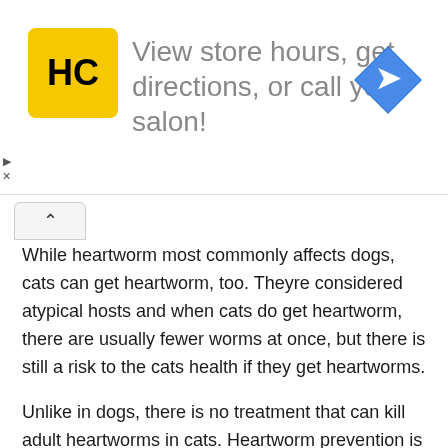[Figure (logo): HC salon logo with yellow square background and navigation arrow icon, with ad text: View store hours, get directions, or call your salon!]
While heartworm most commonly affects dogs, cats can get heartworm, too. Theyre considered atypical hosts and when cats do get heartworm, there are usually fewer worms at once, but there is still a risk to the cats health if they get heartworms.
Unlike in dogs, there is no treatment that can kill adult heartworms in cats. Heartworm prevention is therefore essential for the life and health of cats.
Cost Will Also Be Relevant For Your Cats Heartworm Prevention